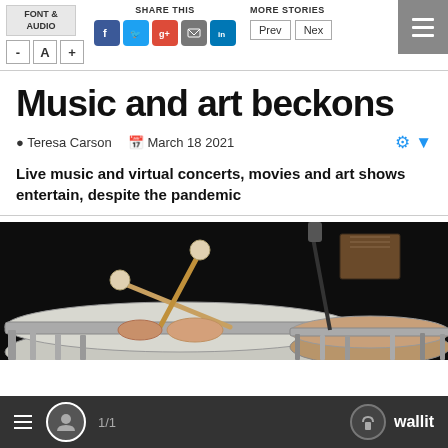FONT & AUDIO | SHARE THIS | MORE STORIES | Prev | Next
Music and art beckons
Teresa Carson   March 18 2021
Live music and virtual concerts, movies and art shows entertain, despite the pandemic
[Figure (photo): Close-up photograph of a percussionist's hands playing timpani drums with mallets, dark background, drum hardware visible]
1/1   wallit